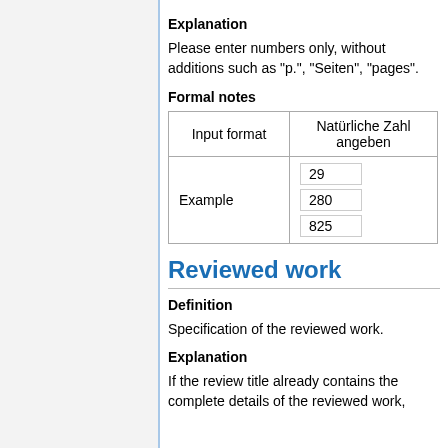Explanation
Please enter numbers only, without additions such as "p.", "Seiten", "pages".
Formal notes
| Input format | Natürliche Zahl angeben |
| --- | --- |
| Example | 29
280
825 |
Reviewed work
Definition
Specification of the reviewed work.
Explanation
If the review title already contains the complete details of the reviewed work,